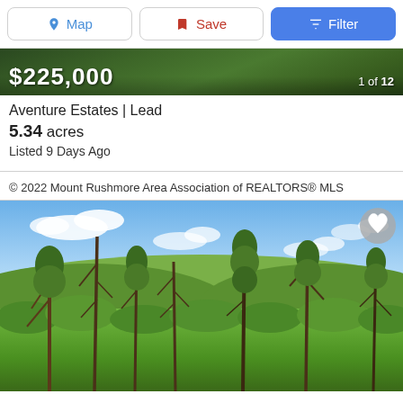Map | Save | Filter
[Figure (photo): Aerial/banner photo showing forested hillside with price overlay $225,000 and counter 1 of 12]
Aventure Estates | Lead
5.34 acres
Listed 9 Days Ago
© 2022 Mount Rushmore Area Association of REALTORS® MLS
[Figure (photo): Outdoor landscape photo showing tall pine trees against a blue sky with white clouds, green hills and forest in background, heart/favorite button in top right corner]